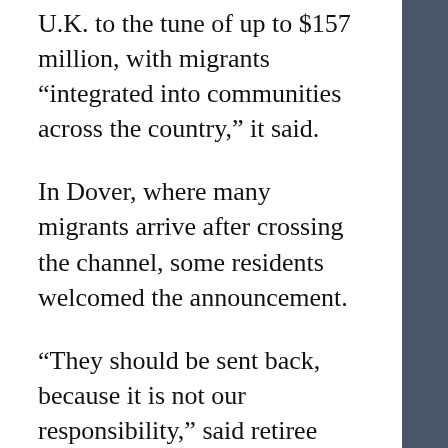U.K. to the tune of up to $157 million, with migrants “integrated into communities across the country,” it said.
In Dover, where many migrants arrive after crossing the channel, some residents welcomed the announcement.
“They should be sent back, because it is not our responsibility,” said retiree Andy, 68.
“Our responsibility is to look after our own people, which we aren’t doing,” the heavily tattooed army veteran told AFP.
“I understand people escaping from repression. I do. But if they’re coming over